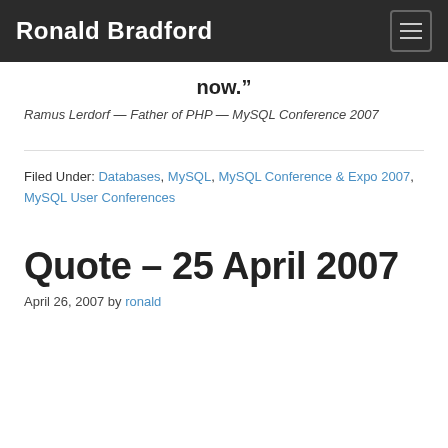Ronald Bradford
now.”
Ramus Lerdorf — Father of PHP — MySQL Conference 2007
Filed Under: Databases, MySQL, MySQL Conference & Expo 2007, MySQL User Conferences
Quote – 25 April 2007
April 26, 2007 by ronald